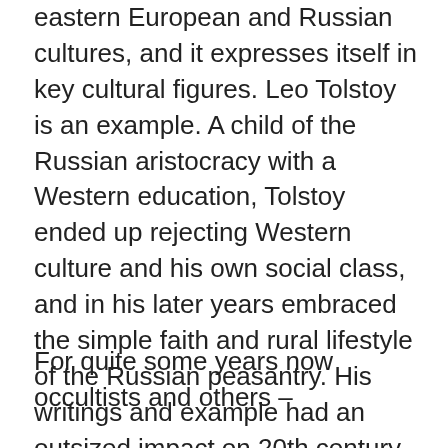eastern European and Russian cultures, and it expresses itself in key cultural figures. Leo Tolstoy is an example. A child of the Russian aristocracy with a Western education, Tolstoy ended up rejecting Western culture and his own social class, and in his later years embraced the simple faith and rural lifestyle of the Russian peasantry. His writings and example had an outsized impact on 20th century history – Gandhi was among the many figures he influenced – but he rejected the logic of the Faustian monomyth and never claimed to be the One who Found the Truth. Rather, in the true style of sobornost, the truth found him.
For quite some years now occultists and others –